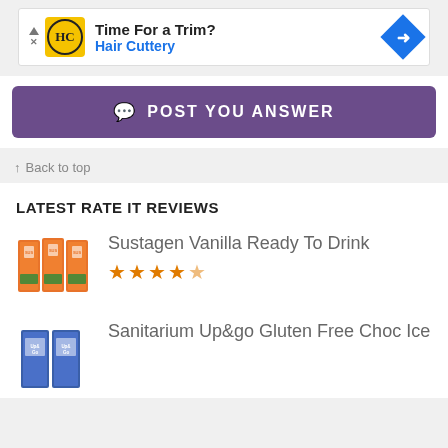[Figure (other): Hair Cuttery advertisement banner with HC logo, 'Time For a Trim?' headline and blue arrow icon]
POST YOU ANSWER
↑ Back to top
LATEST RATE IT REVIEWS
[Figure (photo): Sustagen Vanilla Ready To Drink product boxes]
Sustagen Vanilla Ready To Drink
[Figure (photo): Sanitarium Up&go Gluten Free Choc Ice product boxes]
Sanitarium Up&go Gluten Free Choc Ice